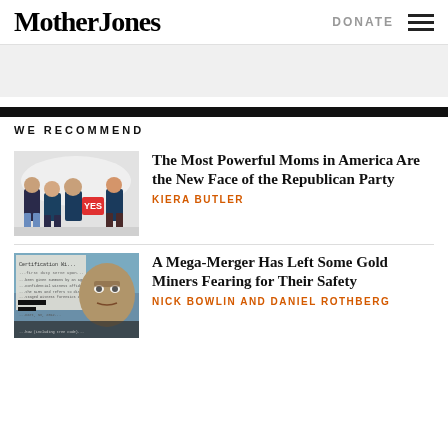Mother Jones
DONATE
WE RECOMMEND
[Figure (photo): Four women in dark shirts, one holding a YES sign, posing for photo]
The Most Powerful Moms in America Are the New Face of the Republican Party
KIERA BUTLER
[Figure (photo): Collage of a man's face with document text overlay and redacted sections]
A Mega-Merger Has Left Some Gold Miners Fearing for Their Safety
NICK BOWLIN AND DANIEL ROTHBERG